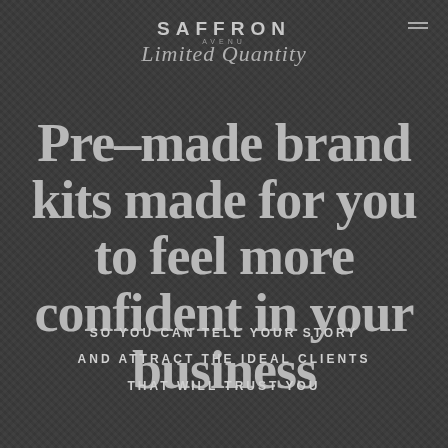[Figure (logo): Saffron Avenue logo with 'SAFFRON' in uppercase spaced letters, 'AVENU' small text below, and 'Limited Quantity' in italic script]
Pre-made brand kits made for you to feel more confident in your business
SO YOU CAN TELL YOUR STORY
AND ATTRACT THE IDEAL CLIENTS
THAT WILL TRUST YOU